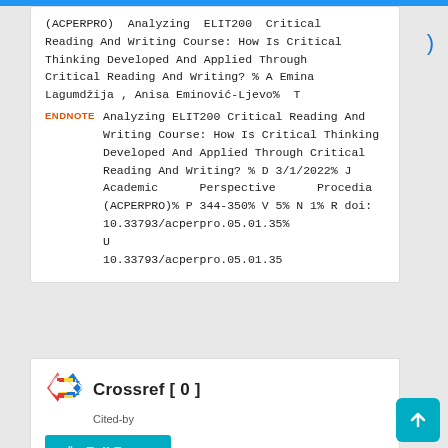(ACPERPRO) Analyzing ELIT200 Critical Reading And Writing Course: How Is Critical Thinking Developed And Applied Through Critical Reading And Writing? % A Emina Lagumdžija , Anisa Eminović-Ljevo% T Analyzing ELIT200 Critical Reading And Writing Course: How Is Critical Thinking Developed And Applied Through Critical Reading And Writing? % D 3/1/2022% J Academic Perspective Procedia (ACPERPRO)% P 344-350% V 5% N 1% R doi:10.33793/acperpro.05.01.35% U 10.33793/acperpro.05.01.35
[Figure (logo): Crossref logo — colored zigzag arrows in red, yellow, blue]
Crossref [ 0 ]
Cited-by
↓ Full Paper